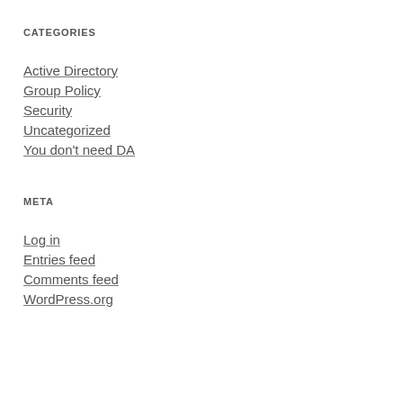CATEGORIES
Active Directory
Group Policy
Security
Uncategorized
You don't need DA
META
Log in
Entries feed
Comments feed
WordPress.org